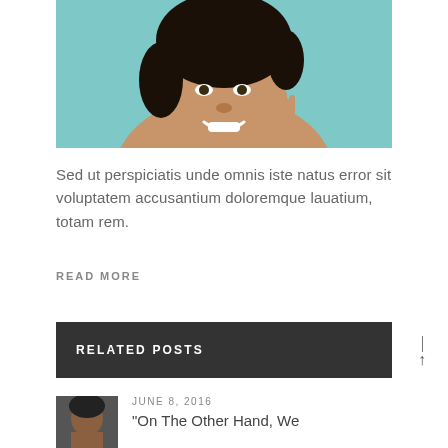[Figure (photo): Portrait photo of a smiling woman with curly hair against a teal background, hand raised near face]
Sed ut perspiciatis unde omnis iste natus error sit voluptatem accusantium doloremque lauatium, totam rem.
READ MORE
RELATED POSTS
[Figure (photo): Small thumbnail portrait photo, dark toned]
JUNE 8, 2016
“On The Other Hand, We